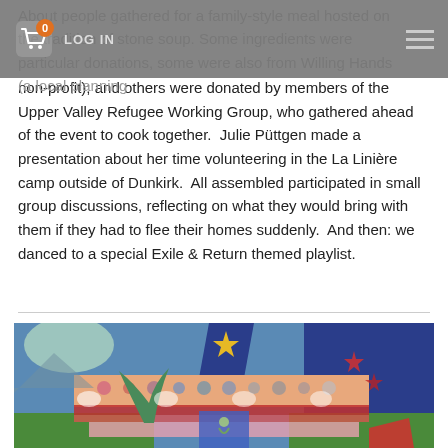LOG IN
About people gathered for a family-style meal hosted on the tradition of stone soup. Some ingredients were particular donations, some were also from Willing Hands (a local planning non-profit); and others were donated by members of the Upper Valley Refugee Working Group, who gathered ahead of the event to cook together. Julie Püttgen made a presentation about her time volunteering in the La Linière camp outside of Dunkirk. All assembled participated in small group discussions, reflecting on what they would bring with them if they had to flee their homes suddenly. And then: we danced to a special Exile & Return themed playlist.
[Figure (illustration): A colorful painting depicting a stylized boat or vessel with plants, figures, geometric shapes, clouds, and stars against a blue and pink background.]